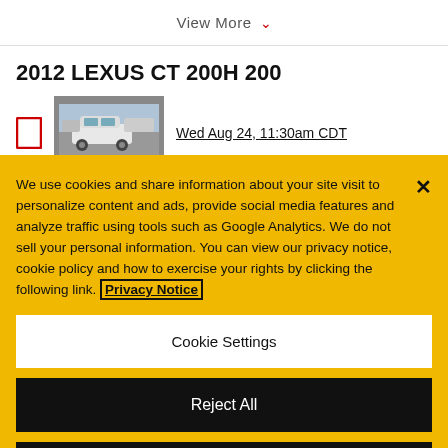View More ▼
2012 LEXUS CT 200H 200
[Figure (photo): Car thumbnail photo showing a white Lexus vehicle in a parking lot]
Wed Aug 24, 11:30am CDT
We use cookies and share information about your site visit to personalize content and ads, provide social media features and analyze traffic using tools such as Google Analytics. We do not sell your personal information. You can view our privacy notice, cookie policy and how to exercise your rights by clicking the following link. Privacy Notice
Cookie Settings
Reject All
Accept Cookies